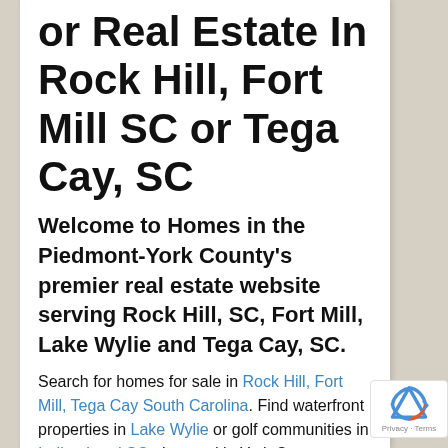or Real Estate In Rock Hill, Fort Mill SC or Tega Cay, SC
Welcome to Homes in the Piedmont-York County's premier real estate website serving Rock Hill, SC, Fort Mill, Lake Wylie and Tega Cay, SC.
Search for homes for sale in Rock Hill, Fort Mill, Tega Cay South Carolina. Find waterfront properties in Lake Wylie or golf communities in Indian Land SC.  Located in York County, South Carolina, the piedmont